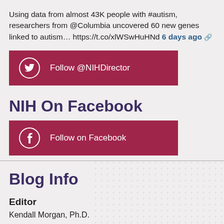Using data from almost 43K people with #autism, researchers from @Columbia uncovered 60 new genes linked to autism… https://t.co/xlWSwHuHNd 6 days ago ↗
[Figure (other): Red button with Twitter bird icon: Follow @NIHDirector]
NIH On Facebook
[Figure (other): Red button with Facebook icon: Follow on Facebook]
Blog Info
Editor
Kendall Morgan, Ph.D.